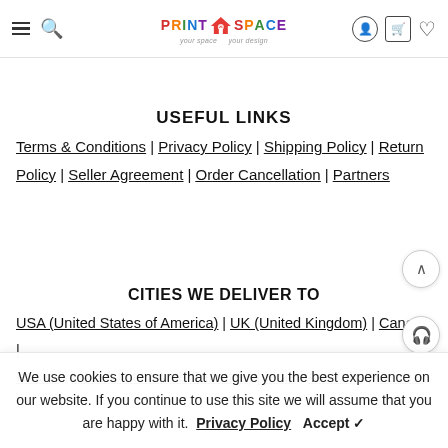PrintSpace — your space your design
USEFUL LINKS
Terms & Conditions | Privacy Policy | Shipping Policy | Return Policy | Seller Agreement | Order Cancellation | Partners
CITIES WE DELIVER TO
USA (United States of America) | UK (United Kingdom) | Canada | Russia | UAE (United Arab Emirates) | India | Australia | Germany
We use cookies to ensure that we give you the best experience on our website. If you continue to use this site we will assume that you are happy with it. Privacy Policy Accept ✓